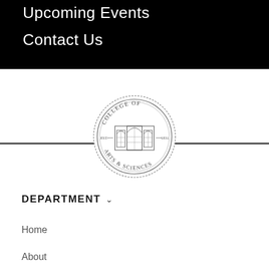Upcoming Events
Contact Us
[Figure (logo): College of Arts & Sciences circular seal/logo with gothic arch window building illustration, text reading COLLEGE OF ARTS & SCIENCES and EST. 1831]
DEPARTMENT
Home
About
Contact Us
Faculty & Staff